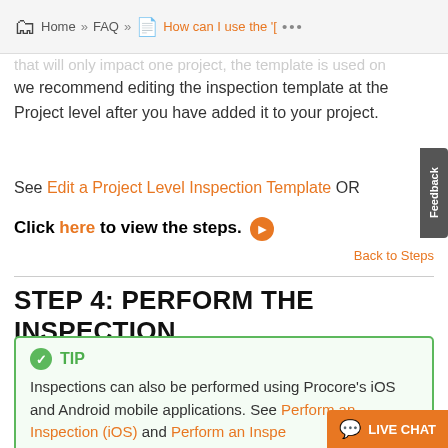Home » FAQ » How can I use the '[ ...
that will only impact one project, the template is used on we recommend editing the inspection template at the Project level after you have added it to your project.
See Edit a Project Level Inspection Template OR
Click here to view the steps.
Back to Steps
STEP 4: PERFORM THE INSPECTION
TIP
Inspections can also be performed using Procore's iOS and Android mobile applications. See Perform an Inspection (iOS) and Perform an Inspe...